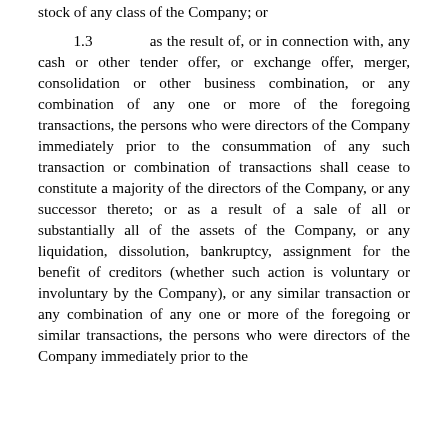stock of any class of the Company; or
1.3 as the result of, or in connection with, any cash or other tender offer, or exchange offer, merger, consolidation or other business combination, or any combination of any one or more of the foregoing transactions, the persons who were directors of the Company immediately prior to the consummation of any such transaction or combination of transactions shall cease to constitute a majority of the directors of the Company, or any successor thereto; or as a result of a sale of all or substantially all of the assets of the Company, or any liquidation, dissolution, bankruptcy, assignment for the benefit of creditors (whether such action is voluntary or involuntary by the Company), or any similar transaction or any combination of any one or more of the foregoing or similar transactions, the persons who were directors of the Company immediately prior to the